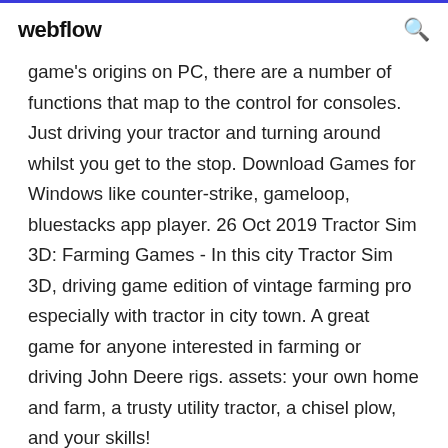webflow
game's origins on PC, there are a number of functions that map to the control for consoles. Just driving your tractor and turning around whilst you get to the stop. Download Games for Windows like counter-strike, gameloop, bluestacks app player. 26 Oct 2019 Tractor Sim 3D: Farming Games - In this city Tractor Sim 3D, driving game edition of vintage farming pro especially with tractor in city town. A great game for anyone interested in farming or driving John Deere rigs. assets: your own home and farm, a trusty utility tractor, a chisel plow, and your skills!
•